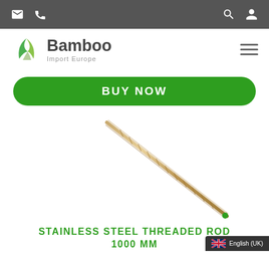Navigation bar with email, phone, search, and account icons
[Figure (logo): Bamboo Import Europe logo with green bamboo leaf icon and hamburger menu]
BUY NOW
[Figure (photo): A stainless steel threaded rod 1000mm, shown diagonally against white background]
STAINLESS STEEL THREADED ROD 1000 MM